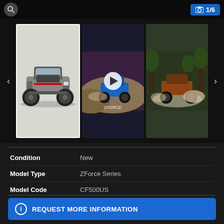[Figure (screenshot): Top bar with search icon (magnifying glass) and camera icon with '1/6' badge on blue background]
[Figure (photo): Gallery strip with three UTV/side-by-side vehicle images: first is a grey CFMOTO ZForce UTV (selected/highlighted), second is a video thumbnail showing blue UTV racing with a play button overlay, third shows a UTV driving through water/dust in a forest setting. Navigation arrows on left and right sides.]
| Attribute | Value |
| --- | --- |
| Condition | New |
| Model Type | ZForce Series |
| Model Code | CF500US |
| Color | Grey |
REQUEST MORE INFORMATION
APPLY FOR FINANCING